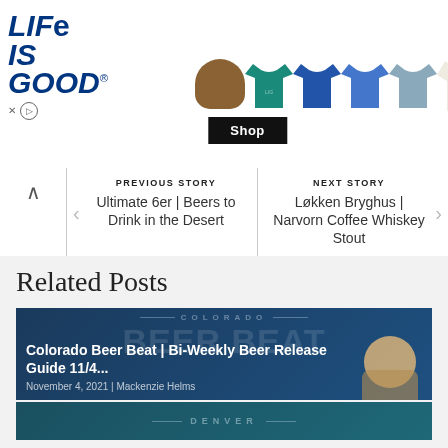[Figure (screenshot): Life is Good advertisement banner with t-shirts and a Shop button]
PREVIOUS STORY
Ultimate 6er | Beers to Drink in the Desert
NEXT STORY
Løkken Bryghus | Narvorn Coffee Whiskey Stout
Related Posts
[Figure (screenshot): Colorado Beer Beat article card — Colorado Beer Beat | Bi-Weekly Beer Release Guide 11/4... — November 4, 2021 | Mackenzie Helms]
[Figure (screenshot): Denver article card — partial, showing DENVER text at bottom]